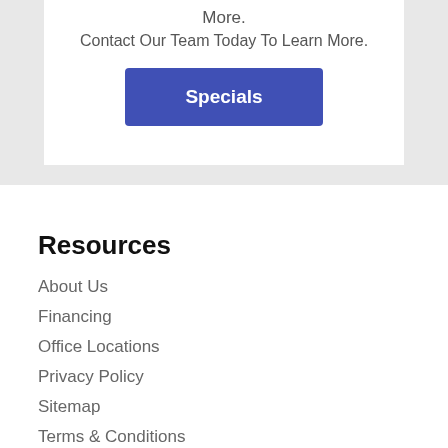More.
Contact Our Team Today To Learn More.
[Figure (other): Blue button labeled 'Specials']
Resources
About Us
Financing
Office Locations
Privacy Policy
Sitemap
Terms & Conditions